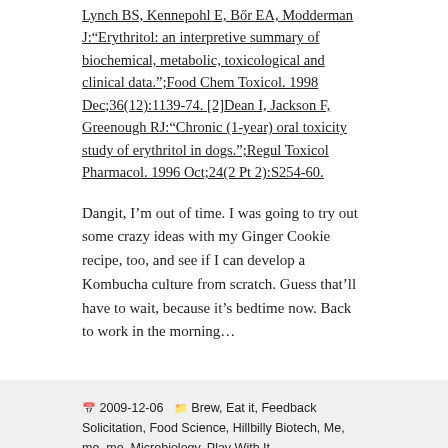Lynch BS, Kennepohl E, Bőr EA, Modderman J:"Erythritol: an interpretive summary of biochemical, metabolic, toxicological and clinical data.";Food Chem Toxicol. 1998 Dec;36(12):1139-74. [2]Dean I, Jackson F, Greenough RJ:"Chronic (1-year) oral toxicity study of erythritol in dogs.";Regul Toxicol Pharmacol. 1996 Oct;24(2 Pt 2):S254-60.
Dangit, I'm out of time. I was going to try out some crazy ideas with my Ginger Cookie recipe, too, and see if I can develop a Kombucha culture from scratch. Guess that'll have to wait, because it's bedtime now. Back to work in the morning...
2009-12-06  Brew, Eat it, Feedback Solicitation, Food Science, Hillbilly Biotech, Me, me, me, Microbiology, Play With It  baking, Cookies, erythritol, Food Science, recipes, sugar, sugar substitutes, xanthan gum  4 Comments